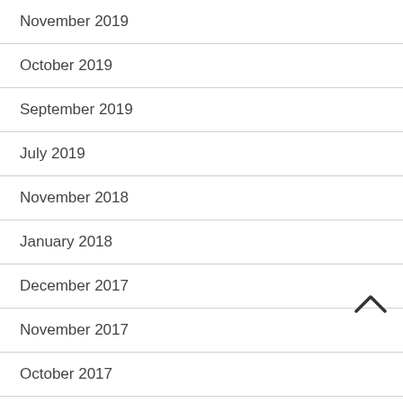November 2019
October 2019
September 2019
July 2019
November 2018
January 2018
December 2017
November 2017
October 2017
September 2017